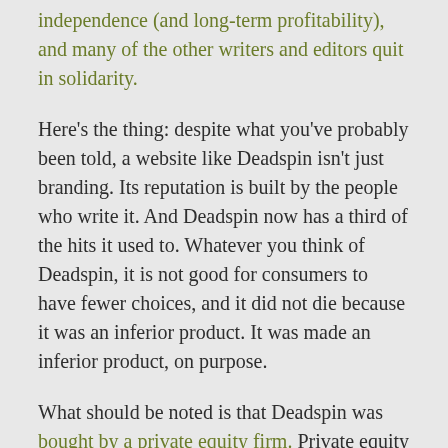independence (and long-term profitability), and many of the other writers and editors quit in solidarity.
Here's the thing: despite what you've probably been told, a website like Deadspin isn't just branding. Its reputation is built by the people who write it. And Deadspin now has a third of the hits it used to. Whatever you think of Deadspin, it is not good for consumers to have fewer choices, and it did not die because it was an inferior product. It was made an inferior product, on purpose.
What should be noted is that Deadspin was bought by a private equity firm. Private equity firms often buy successful businesses to tank